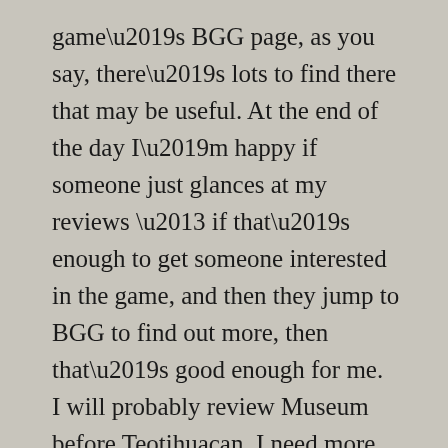game's BGG page, as you say, there's lots to find there that may be useful. At the end of the day I'm happy if someone just glances at my reviews – if that's enough to get someone interested in the game, and then they jump to BGG to find out more, then that's good enough for me. I will probably review Museum before Teotihuacan, I need more play time on the latter, especially the solo game, but I've played Museum plenty and my findings are quite interesting...